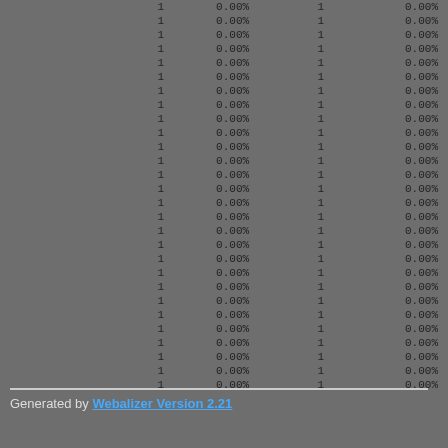|  | col1 | col2 | col3 | col4 |
| --- | --- | --- | --- | --- |
| 1 | 0.00% | 1 | 0.00% |
| 1 | 0.00% | 1 | 0.00% |
| 1 | 0.00% | 1 | 0.00% |
| 1 | 0.00% | 1 | 0.00% |
| 1 | 0.00% | 1 | 0.00% |
| 1 | 0.00% | 1 | 0.00% |
| 1 | 0.00% | 1 | 0.00% |
| 1 | 0.00% | 1 | 0.00% |
| 1 | 0.00% | 1 | 0.00% |
| 1 | 0.00% | 1 | 0.00% |
| 1 | 0.00% | 1 | 0.00% |
| 1 | 0.00% | 1 | 0.00% |
| 1 | 0.00% | 1 | 0.00% |
| 1 | 0.00% | 1 | 0.00% |
| 1 | 0.00% | 1 | 0.00% |
| 1 | 0.00% | 1 | 0.00% |
| 1 | 0.00% | 1 | 0.00% |
| 1 | 0.00% | 1 | 0.00% |
| 1 | 0.00% | 1 | 0.00% |
| 1 | 0.00% | 1 | 0.00% |
| 1 | 0.00% | 1 | 0.00% |
| 1 | 0.00% | 1 | 0.00% |
| 1 | 0.00% | 1 | 0.00% |
| 1 | 0.00% | 1 | 0.00% |
| 1 | 0.00% | 1 | 0.00% |
| 1 | 0.00% | 1 | 0.00% |
| 1 | 0.00% | 1 | 0.00% |
| 1 | 0.00% | 1 | 0.00% |
| 1 | 0.00% | 1 | 0.00% |
| 1 | 0.00% | 1 | 0.00% |
| 1 | 0.00% | 1 | 0.00% |
| 1 | 0.00% | 1 | 0.00% |
| 1 | 0.00% | 1 | 0.00% |
| 1 | 0.00% | 1 | 0.00% |
| 1 | 0.00% | 1 | 0.00% |
| 1 | 0.00% | 1 | 0.00% |
| 1 | 0.00% | 1 | 0.00% |
| 1 | 0.00% | 1 | 0.00% |
Generated by Webalizer Version 2.21